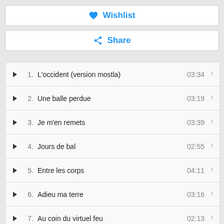Wishlist
Share
1. L'occident (version mostla) 03:34
2. Une balle perdue 03:19
3. Je m'en remets 03:39
4. Jours de bal 02:55
5. Entre les corps 04:11
6. Adieu ma terre 03:16
7. Au coin du virtuel feu 02:13
8. Pleurez dans vos draps 03:34